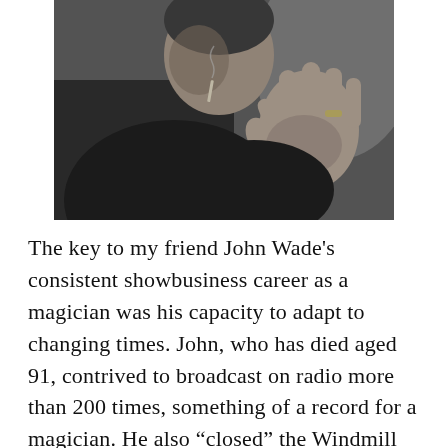[Figure (photo): Black and white photograph of a man in dark clothing, shown from roughly the waist up, with one hand raised and fingers spread, appearing to perform a magic trick or gesture. The image is cropped at the top.]
The key to my friend John Wade's consistent showbusiness career as a magician was his capacity to adapt to changing times. John, who has died aged 91, contrived to broadcast on radio more than 200 times, something of a record for a magician. He also “closed” the Windmill theatre, being the last act to appear on the Windmill’s London stage in 1964, and he crossed the Atlantic 22 times.